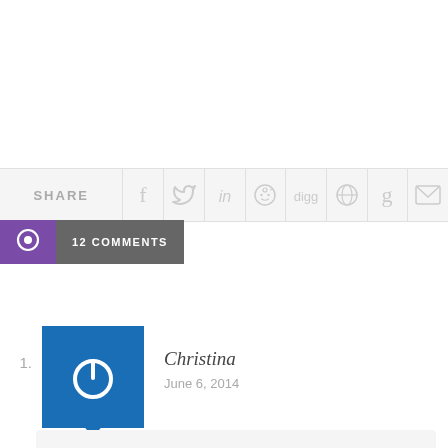[Figure (infographic): Share bar with social media icons: SHARE label, Facebook, Twitter, LinkedIn, Reddit, Digg, globe, Google, email icons]
[Figure (infographic): Comments button with speech bubble icon and text '12 COMMENTS' on dark background]
1. Christina — June 6, 2014 — Melinda – I am so excited to follow your blog! What. Wonderful start.